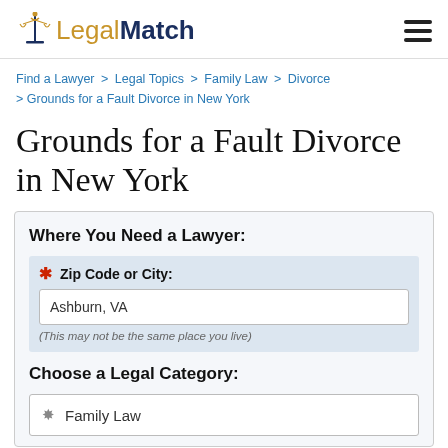LegalMatch
Find a Lawyer > Legal Topics > Family Law > Divorce > Grounds for a Fault Divorce in New York
Grounds for a Fault Divorce in New York
Where You Need a Lawyer:
* Zip Code or City: Ashburn, VA (This may not be the same place you live)
Choose a Legal Category:
Family Law